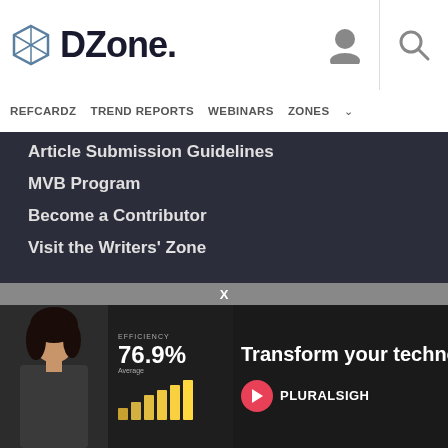DZone. — navigation header with user icon and search icon
REFCARDZ  TREND REPORTS  WEBINARS  ZONES
Article Submission Guidelines
MVB Program
Become a Contributor
Visit the Writers' Zone
LEGAL
Terms of Service
Privacy Policy
CONTACT US
60 [redacted]
Su[pport email partial]
Du[ke partial]
support@dzone.com
[Figure (infographic): Pluralsight advertisement overlay showing a woman, efficiency stat of 76.9% average, bar chart, laptop image, text 'Transform your techno...' and Pluralsight logo]